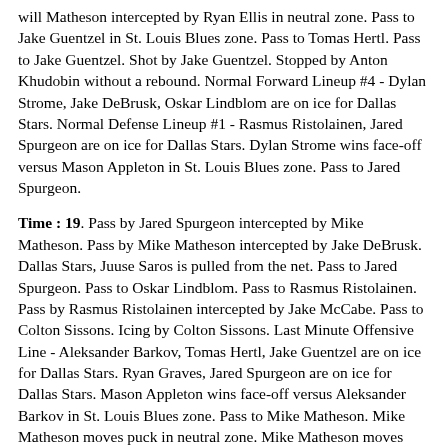will Matheson intercepted by Ryan Ellis in neutral zone. Pass to Jake Guentzel in St. Louis Blues zone. Pass to Tomas Hertl. Pass to Jake Guentzel. Shot by Jake Guentzel. Stopped by Anton Khudobin without a rebound. Normal Forward Lineup #4 - Dylan Strome, Jake DeBrusk, Oskar Lindblom are on ice for Dallas Stars. Normal Defense Lineup #1 - Rasmus Ristolainen, Jared Spurgeon are on ice for Dallas Stars. Dylan Strome wins face-off versus Mason Appleton in St. Louis Blues zone. Pass to Jared Spurgeon.
Time : 19. Pass by Jared Spurgeon intercepted by Mike Matheson. Pass by Mike Matheson intercepted by Jake DeBrusk. Dallas Stars, Juuse Saros is pulled from the net. Pass to Jared Spurgeon. Pass to Oskar Lindblom. Pass to Rasmus Ristolainen. Pass by Rasmus Ristolainen intercepted by Jake McCabe. Pass to Colton Sissons. Icing by Colton Sissons. Last Minute Offensive Line - Aleksander Barkov, Tomas Hertl, Jake Guentzel are on ice for Dallas Stars. Ryan Graves, Jared Spurgeon are on ice for Dallas Stars. Mason Appleton wins face-off versus Aleksander Barkov in St. Louis Blues zone. Pass to Mike Matheson. Mike Matheson moves puck in neutral zone. Mike Matheson moves puck in Dallas Stars zone. Pass by Mike Matheson intercepted by Jared Spurgeon. Pass to Aleksander Barkov. Pass to Jake Guentzel in neutral zone. Pass to Aleksander Barkov in St. Louis Blues zone. Pass to Tomas Hertl. Shot by Tomas Hertl. Shot Hit the Post. Free Puck Retrieved by Jared Spurgeon for Dallas Stars. Shot by Jared Spurgeon. Stopped by Anton Khudobin without a rebound. Ryan Graves, Jonas Brodin